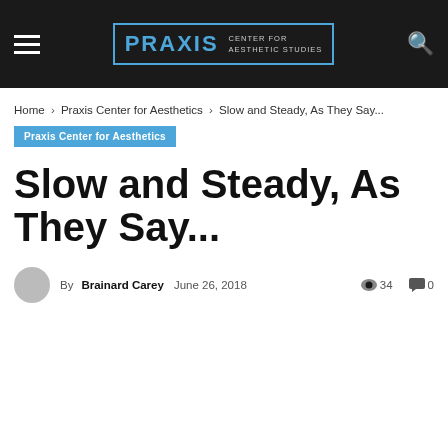PRAXIS CENTER FOR AESTHETIC STUDIES
Home › Praxis Center for Aesthetics › Slow and Steady, As They Say...
Praxis Center for Aesthetics
Slow and Steady, As They Say...
By Brainard Carey   June 26, 2018   34   0